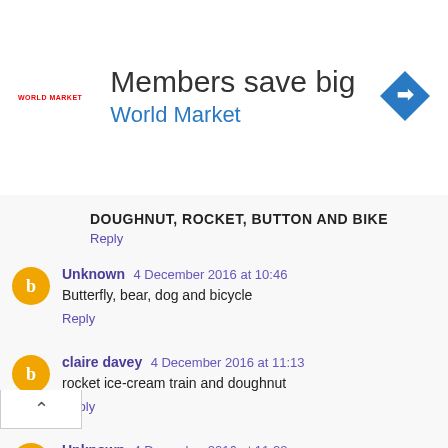[Figure (infographic): Advertisement banner: World Market 'Members save big' with logo and navigation arrow icon]
DOUGHNUT, ROCKET, BUTTON AND BIKE
Reply
Unknown 4 December 2016 at 10:46
Butterfly, bear, dog and bicycle
Reply
claire davey 4 December 2016 at 11:13
rocket ice-cream train and doughnut
Reply
Unknown 4 December 2016 at 11:28